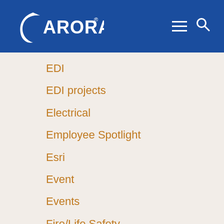[Figure (logo): Arora Engineers logo with white crescent arc and ARORA text in white on blue header, with hamburger menu and search icons]
EDI
EDI projects
Electrical
Employee Spotlight
Esri
Event
Events
Fire/Life Safety
GIS
Holiday
HVAC